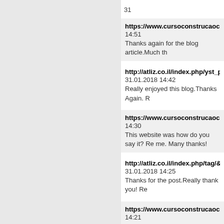31
https://www.cursoconstrucaocivil.com.
14:51
Thanks again for the blog article.Much th
http://atliz.co.il/index.php/yst_promine
31.01.2018 14:42
Really enjoyed this blog.Thanks Again. R
https://www.cursoconstrucaocivil.com.
14:30
This website was how do you say it? Re me. Many thanks!
http://atliz.co.il/index.php/tag/&#1499;
31.01.2018 14:25
Thanks for the post.Really thank you! Re
https://www.cursoconstrucaocivil.com.
14:21
woh I am pleased to find this website thr
https://www.cursoconstrucaocivil.com.
the terrific works guys I ave incorporated